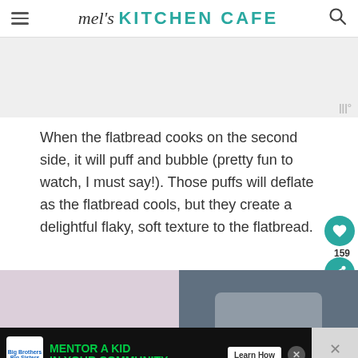mel's KITCHEN CAFE
[Figure (photo): Light gray advertisement placeholder area with weather badge icon in bottom right corner]
When the flatbread cooks on the second side, it will puff and bubble (pretty fun to watch, I must say!). Those puffs will deflate as the flatbread cools, but they create a delightful flaky, soft texture to the flatbread.
[Figure (photo): Two side-by-side food photographs: left shows a light pink/purple background with food items, right shows a darker background with what appears to be white flatbread or food items]
[Figure (infographic): Advertisement banner: Big Brothers Big Sisters logo, 'MENTOR A KID IN YOUR COMMUNITY.' in green text, 'Learn How' button, close button, and right side close overlay with weather icon]